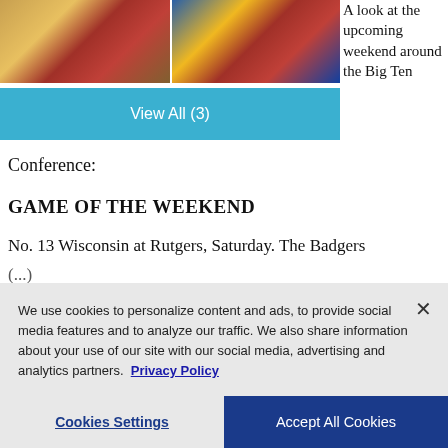[Figure (photo): Two basketball action photos side by side showing Big Ten conference players]
View All (3)
A look at the upcoming weekend around the Big Ten Conference:
GAME OF THE WEEKEND
No. 13 Wisconsin at Rutgers, Saturday. The Badgers (…)
We use cookies to personalize content and ads, to provide social media features and to analyze our traffic. We also share information about your use of our site with our social media, advertising and analytics partners. Privacy Policy
Cookies Settings
Accept All Cookies